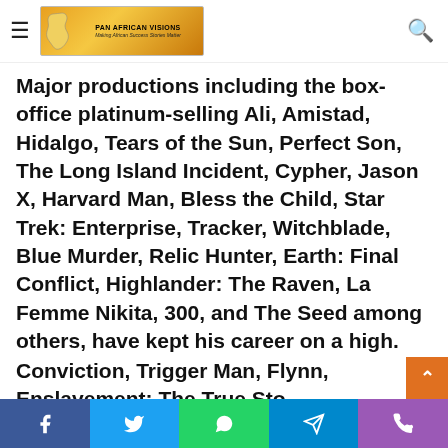Pan African Visions - Making African Success Stories Matter
Major productions including the box-office platinum-selling Ali, Amistad, Hidalgo, Tears of the Sun, Perfect Son, The Long Island Incident, Cypher, Jason X, Harvard Man, Bless the Child, Star Trek: Enterprise, Tracker, Witchblade, Blue Murder, Relic Hunter, Earth: Final Conflict, Highlander: The Raven, La Femme Nikita, 300, and The Seed among others, have kept his career on a high.
[Figure (photo): Broken/missing image placeholder]
Conviction, Trigger Man, Flynn, Enslavement: The True Sto...